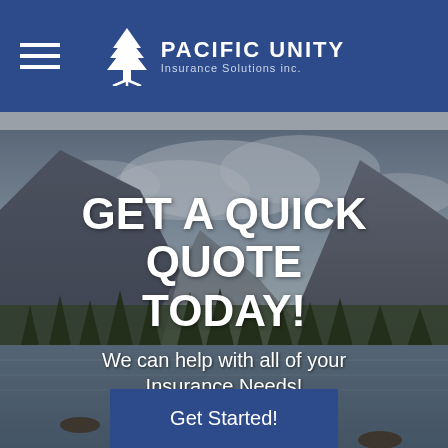PACIFIC UNITY Insurance Solutions inc.
[Figure (photo): Mountain landscape with river, rocks, evergreen trees, and dramatic cloudy sky — Yosemite Valley style scenery serving as hero background image]
GET A QUICK QUOTE TODAY!
We can help with all of your Insurance Needs!
Get Started!